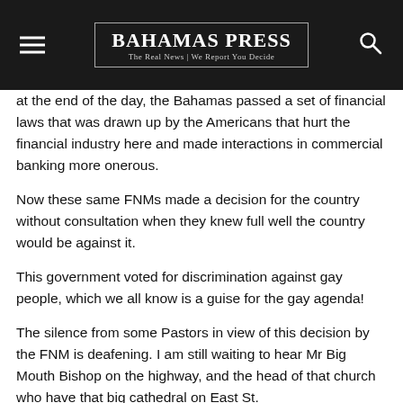Bahamas Press | The Real News | We Report You Decide
at the end of the day, the Bahamas passed a set of financial laws that was drawn up by the Americans that hurt the financial industry here and made interactions in commercial banking more onerous.
Now these same FNMs made a decision for the country without consultation when they knew full well the country would be against it.
This government voted for discrimination against gay people, which we all know is a guise for the gay agenda!
The silence from some Pastors in view of this decision by the FNM is deafening. I am still waiting to hear Mr Big Mouth Bishop on the highway, and the head of that church who have that big cathedral on East St.
Some of these guys are so compromised, that even if they want to object to what the government did they cant!